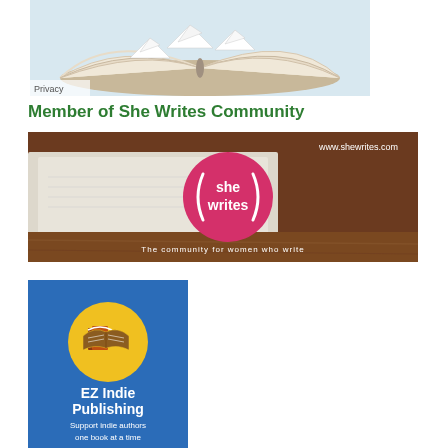[Figure (photo): Open book with paper boats folded from book pages floating above it, with a 'Privacy' label in the lower left corner of the image]
Member of She Writes Community
[Figure (photo): She Writes community banner image showing an open book on a wooden table, with a pink circular logo saying 'she writes', text 'www.shewrites.com' in the upper right, and tagline 'The community for women who write' at the bottom]
[Figure (logo): EZ Indie Publishing logo: blue background with a yellow circle containing an open book icon, text 'EZ Indie Publishing' in white, and 'Support indie authors one book at a time' beneath it]